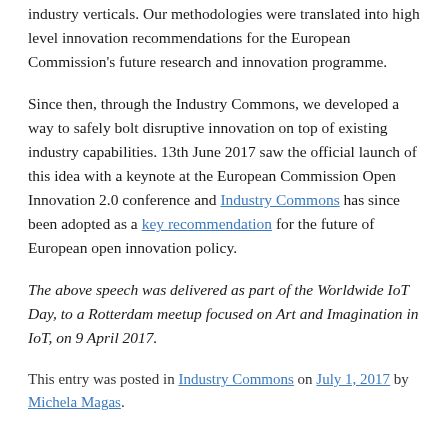industry verticals. Our methodologies were translated into high level innovation recommendations for the European Commission's future research and innovation programme.
Since then, through the Industry Commons, we developed a way to safely bolt disruptive innovation on top of existing industry capabilities. 13th June 2017 saw the official launch of this idea with a keynote at the European Commission Open Innovation 2.0 conference and Industry Commons has since been adopted as a key recommendation for the future of European open innovation policy.
The above speech was delivered as part of the Worldwide IoT Day, to a Rotterdam meetup focused on Art and Imagination in IoT, on 9 April 2017.
This entry was posted in Industry Commons on July 1, 2017 by Michela Magas.